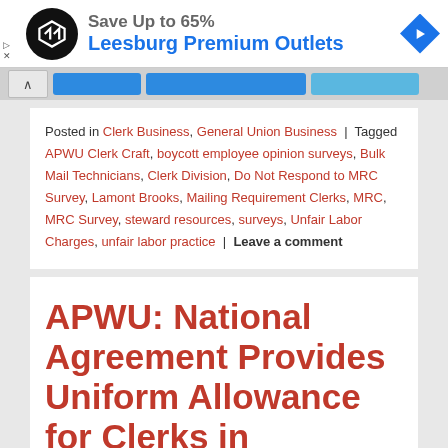[Figure (screenshot): Advertisement banner for Leesburg Premium Outlets showing a circular black logo with arrows, 'Save Up to 65%' text, outlet name in blue, and a blue diamond-shaped arrow icon]
Navigation bar with up arrow and blue buttons
Posted in Clerk Business, General Union Business | Tagged APWU Clerk Craft, boycott employee opinion surveys, Bulk Mail Technicians, Clerk Division, Do Not Respond to MRC Survey, Lamont Brooks, Mailing Requirement Clerks, MRC, MRC Survey, steward resources, surveys, Unfair Labor Charges, unfair labor practice | Leave a comment
APWU: National Agreement Provides Uniform Allowance for Clerks in POStPlan Offices
Posted on June 16, 2017